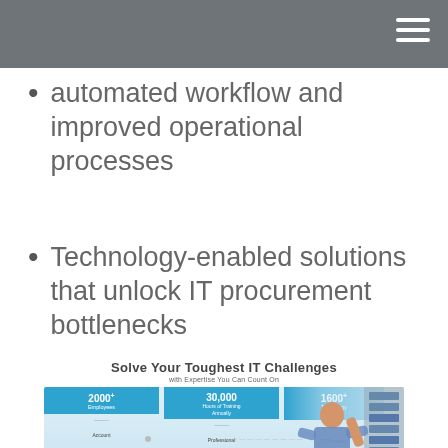automated workflow and improved operational processes
Technology-enabled solutions that unlock IT procurement bottlenecks
[Figure (infographic): Solve Your Toughest IT Challenges with Expertise You Can Count On. Infographic showing three columns: THE TEAM (2000+ Employees, Account Managers, Average Tenure, Engineering Services and Technical Staff), THE EXPERTISE (30,000 Hours of Training Annually, Professional Certifications, of Training Hours Per Engineer Every Year), THE BUYING POWER (1600+ Technology Partners, IT Products Available, Custom Configurations Completed Every Year and Growing). Photo of a person working in a server room on the right side.]